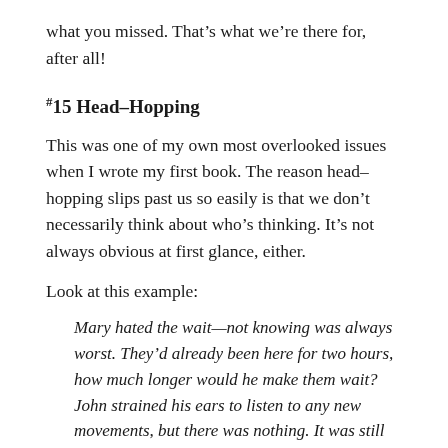what you missed. That's what we're there for, after all!
#15 Head-Hopping
This was one of my own most overlooked issues when I wrote my first book. The reason head-hopping slips past us so easily is that we don't necessarily think about who's thinking. It's not always obvious at first glance, either.
Look at this example:
Mary hated the wait—not knowing was always worst. They'd already been here for two hours, how much longer would he make them wait? John strained his ears to listen to any new movements, but there was nothing. It was still perfectly silent in their hiding place.